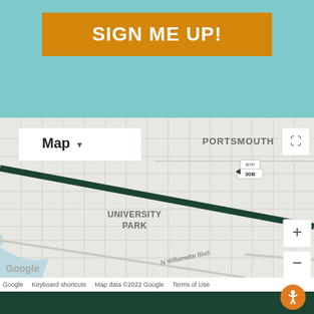SIGN ME UP!
[Figure (map): Google Map showing Portsmouth and University Park neighborhoods in Portland, Oregon. A dark green route runs diagonally across the map along NE route 30B bypass. A shamrock/clover icon marks a point on the route near the center. Street labels include PORTSMOUTH, UNIVERSITY PARK, N Willis Blvd, N Willamette Blvd, N Chautauqua. Map UI shows Map dropdown, zoom controls (+/-), and fullscreen icon. Bottom bar reads: Google, Keyboard shortcuts, Map data ©2022 Google, Terms of Use.]
Google    Keyboard shortcuts    Map data ©2022 Google    Terms of Use